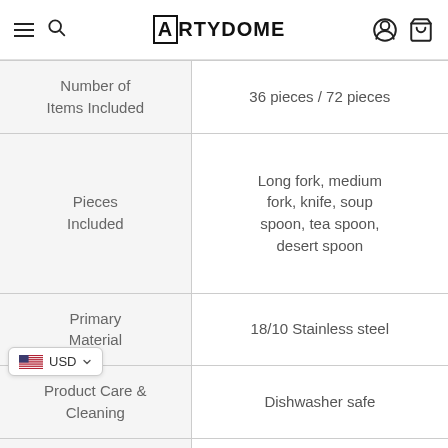ARTYDOME navigation bar with hamburger menu, search, account, and cart icons
| Attribute | Value |
| --- | --- |
| Number of Items Included | 36 pieces / 72 pieces |
| Pieces Included | Long fork, medium fork, knife, soup spoon, tea spoon, desert spoon |
| Primary Material | 18/10 Stainless steel |
| Product Care & Cleaning | Dishwasher safe |
| Handle color | Gold |